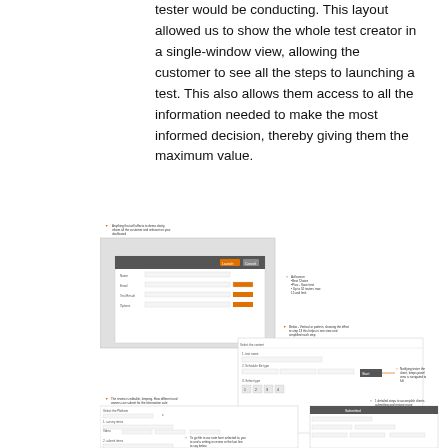tester would be conducting. This layout allowed us to show the whole test creator in a single-window view, allowing the customer to see all the steps to launching a test. This also allows them access to all the information needed to make the most informed decision, thereby giving them the maximum value.
[Figure (screenshot): An annotated composite screenshot showing a UI test creator interface with multiple panels and callout annotations explaining different UI elements. Annotations include arrows and crosses pointing to features of the interface such as form fields, buttons, and navigation elements.]